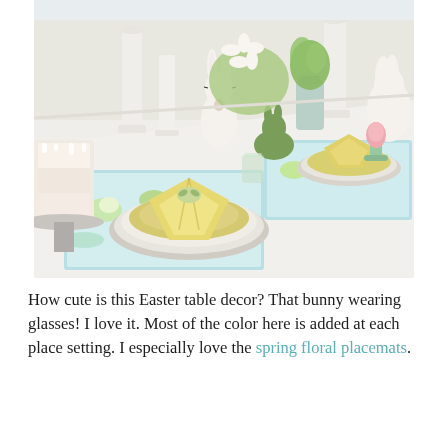[Figure (photo): Easter table decor photo showing a festive spring table setting with floral placemats, yellow checked napkins with flower napkin rings, white ceramic bunny wearing glasses, white candlesticks, green moss bunnies, pink egg in an egg cup, white flowers and greenery centerpiece, and plates with yellow chargers.]
How cute is this Easter table decor? That bunny wearing glasses! I love it. Most of the color here is added at each place setting. I especially love the spring floral placemats.